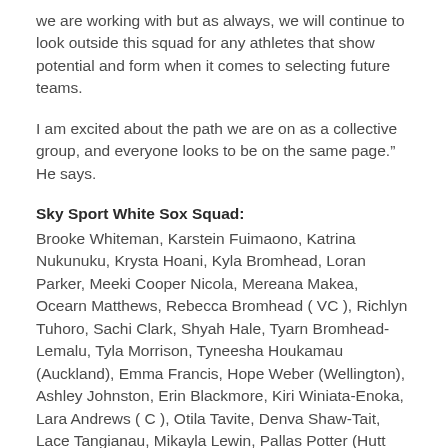we are working with but as always, we will continue to look outside this squad for any athletes that show potential and form when it comes to selecting future teams.
I am excited about the path we are on as a collective group, and everyone looks to be on the same page.” He says.
Sky Sport White Sox Squad:
Brooke Whiteman, Karstein Fuimaono, Katrina Nukunuku, Krysta Hoani, Kyla Bromhead, Loran Parker, Meeki Cooper Nicola, Mereana Makea, Ocearn Matthews, Rebecca Bromhead ( VC ), Richlyn Tuhoro, Sachi Clark, Shyah Hale, Tyarn Bromhead-Lemalu, Tyla Morrison, Tyneesha Houkamau (Auckland), Emma Francis, Hope Weber (Wellington), Ashley Johnston, Erin Blackmore, Kiri Winiata-Enoka, Lara Andrews ( C ), Otila Tavite, Denva Shaw-Tait, Lace Tangianau, Mikayla Lewin, Pallas Potter (Hutt Valley), Amy Begg, Brittany Terrey, Cherie Inwood, Layla Bailey-McDowell